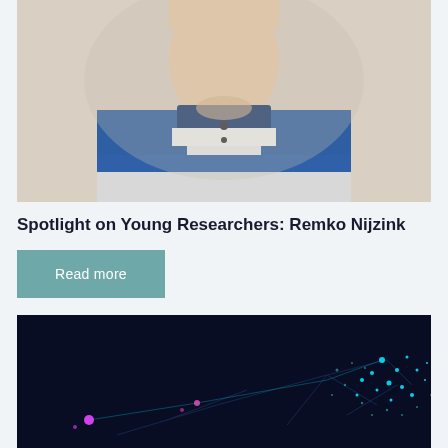[Figure (photo): Headshot photo of a young male researcher wearing a blue and white striped polo shirt against a neutral background]
Spotlight on Young Researchers: Remko Nijzink
Read more
[Figure (photo): Dark background image with network/connectivity visualization showing glowing cyan and magenta dots connected by lines, suggesting data or neural network imagery]